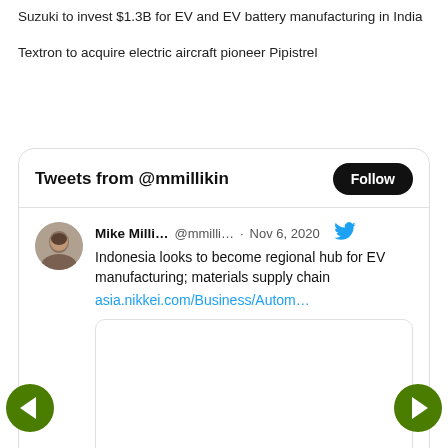Suzuki to invest $1.3B for EV and EV battery manufacturing in India
Textron to acquire electric aircraft pioneer Pipistrel
[Figure (screenshot): Twitter widget showing tweets from @mmillikin with a Follow button. Contains a tweet by Mike Milli... @mmilli... · Nov 6, 2020 with text: Indonesia looks to become regional hub for EV manufacturing; materials supply chain asia.nikkei.com/Business/Autom... and an embedded image preview box.]